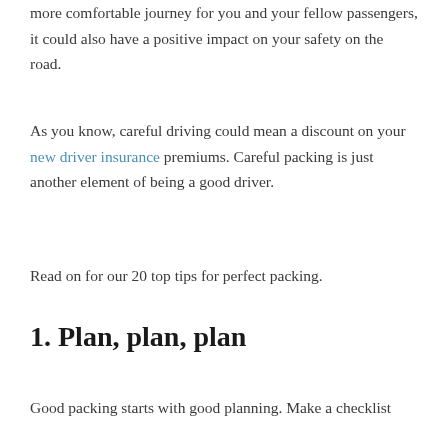more comfortable journey for you and your fellow passengers, it could also have a positive impact on your safety on the road.
As you know, careful driving could mean a discount on your new driver insurance premiums. Careful packing is just another element of being a good driver.
Read on for our 20 top tips for perfect packing.
1. Plan, plan, plan
Good packing starts with good planning. Make a checklist